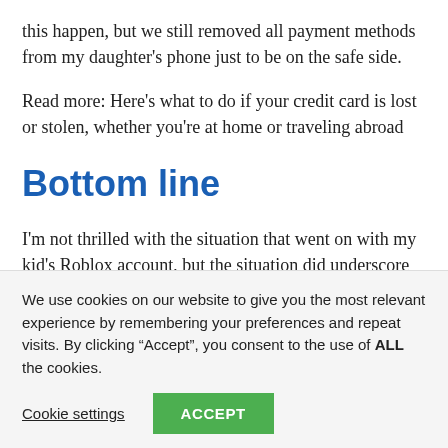this happen, but we still removed all payment methods from my daughter's phone just to be on the safe side.
Read more: Here's what to do if your credit card is lost or stolen, whether you're at home or traveling abroad
Bottom line
I'm not thrilled with the situation that went on with my kid's Roblox account, but the situation did underscore something I believed in already. I never, ever link my
We use cookies on our website to give you the most relevant experience by remembering your preferences and repeat visits. By clicking “Accept”, you consent to the use of ALL the cookies.
Cookie settings  ACCEPT